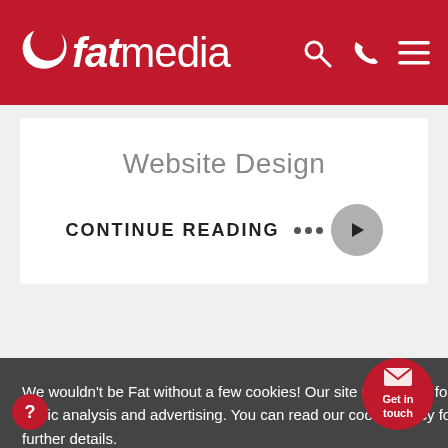fatmedia
Website Design
CONTINUE READING
We wouldn't be Fat without a few cookies! Our site uses them for traffic analysis and advertising. You can read our cookie policy for further details.
COOKIE POLICY
GOT IT!
be in safe hands
Get in touch